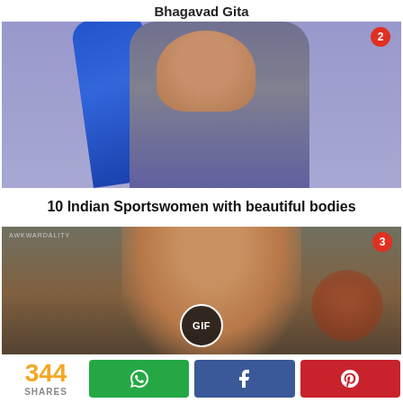Bhagavad Gita
[Figure (photo): Woman wearing blue and grey dress, upper body shot, with notification badge number 2]
10 Indian Sportswomen with beautiful bodies
[Figure (photo): Woman in retro diner setting, GIF badge in center, AWKWARDALITY watermark, notification badge number 3, BBQ sign in background]
344 SHARES